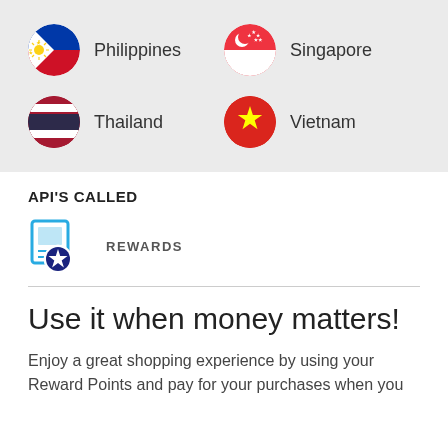Philippines
Singapore
Thailand
Vietnam
API'S CALLED
[Figure (illustration): Rewards icon: a card/screen with a star badge]
REWARDS
Use it when money matters!
Enjoy a great shopping experience by using your Reward Points and pay for your purchases when you